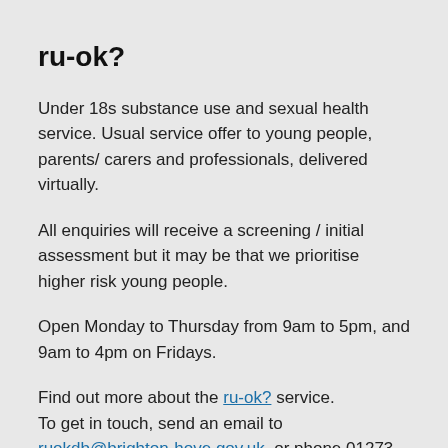ru-ok?
Under 18s substance use and sexual health service. Usual service offer to young people, parents/ carers and professionals, delivered virtually.
All enquiries will receive a screening / initial assessment but it may be that we prioritise higher risk young people.
Open Monday to Thursday from 9am to 5pm, and 9am to 4pm on Fridays.
Find out more about the ru-ok? service.
To get in touch, send an email to ruokdb@brighton-hove.gov.uk, or phone 01273 293 966.